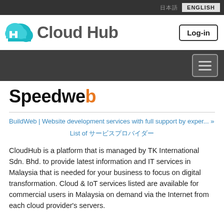日本語  ENGLISH
[Figure (logo): Cloud Hub logo with teal cloud icon and 'Cloud Hub' text, plus Log-in button]
Speedweb
BuildWeb | Website development services with full support by exper... »
List of サービスプロバイダー
CloudHub is a platform that is managed by TK International Sdn. Bhd. to provide latest information and IT services in Malaysia that is needed for your business to focus on digital transformation. Cloud & IoT services listed are available for commercial users in Malaysia on demand via the Internet from each cloud provider's servers.